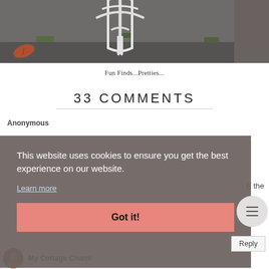[Figure (photo): Top portion of a photo showing a white wrought iron stand or display rack on a stone/concrete surface with leaves visible]
Fun Finds...Pretties...
33 COMMENTS
Anonymous
This website uses cookies to ensure you get the best experience on our website.
Learn more
Got it!
My Cottage Charm